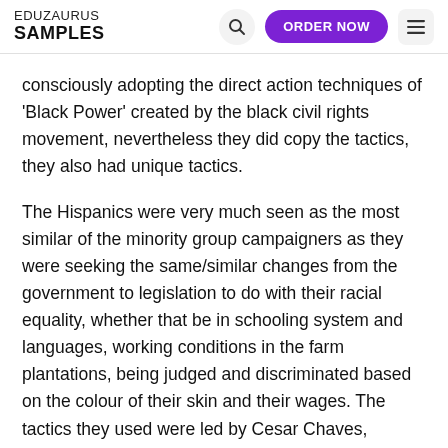EDUZAURUS SAMPLES
consciously adopting the direct action techniques of 'Black Power' created by the black civil rights movement, nevertheless they did copy the tactics, they also had unique tactics.
The Hispanics were very much seen as the most similar of the minority group campaigners as they were seeking the same/similar changes from the government to legislation to do with their racial equality, whether that be in schooling system and languages, working conditions in the farm plantations, being judged and discriminated based on the colour of their skin and their wages. The tactics they used were led by Cesar Chaves, Dolores Huerta, who were seen as the main leaders in their movement, much like Martin Luther King who went public speaking and leading peaceful protests. They organised the grape boycott, much like the